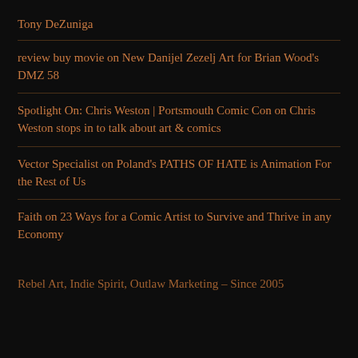Tony DeZuniga
review buy movie on New Danijel Zezelj Art for Brian Wood's DMZ 58
Spotlight On: Chris Weston | Portsmouth Comic Con on Chris Weston stops in to talk about art & comics
Vector Specialist on Poland's PATHS OF HATE is Animation For the Rest of Us
Faith on 23 Ways for a Comic Artist to Survive and Thrive in any Economy
Rebel Art, Indie Spirit, Outlaw Marketing – Since 2005